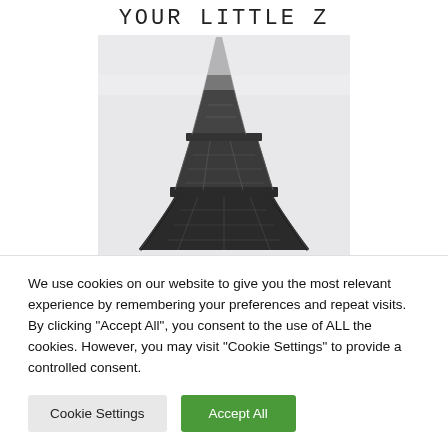YOUR LITTLE Z
[Figure (photo): Low-angle photograph of the Eiffel Tower in black and white tones against a hazy sky]
We use cookies on our website to give you the most relevant experience by remembering your preferences and repeat visits. By clicking “Accept All”, you consent to the use of ALL the cookies. However, you may visit "Cookie Settings" to provide a controlled consent.